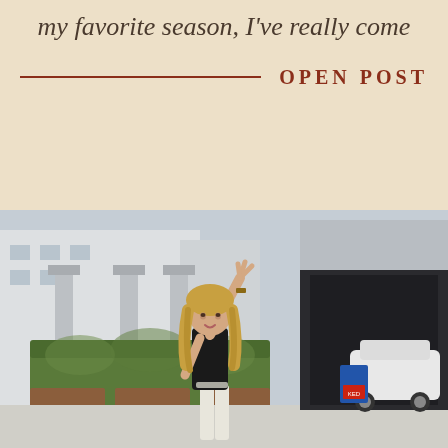my favorite season, I've really come
OPEN POST
[Figure (photo): Woman with blonde hair wearing a black sleeveless top and white pants, raising her right hand in a peace sign gesture. She is standing outdoors in front of a modern building with concrete columns and lush green planters/hedges. A white car is visible in the background on the right side. The scene appears to be a commercial area or restaurant exterior.]